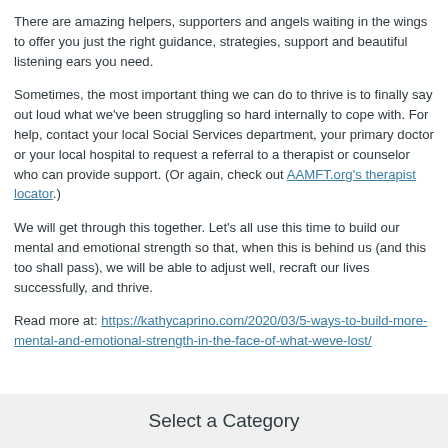There are amazing helpers, supporters and angels waiting in the wings to offer you just the right guidance, strategies, support and beautiful listening ears you need.
Sometimes, the most important thing we can do to thrive is to finally say out loud what we've been struggling so hard internally to cope with. For help, contact your local Social Services department, your primary doctor or your local hospital to request a referral to a therapist or counselor who can provide support. (Or again, check out AAMFT.org's therapist locator.)
We will get through this together. Let's all use this time to build our mental and emotional strength so that, when this is behind us (and this too shall pass), we will be able to adjust well, recraft our lives successfully, and thrive.
Read more at: https://kathycaprino.com/2020/03/5-ways-to-build-more-mental-and-emotional-strength-in-the-face-of-what-weve-lost/
Select a Category